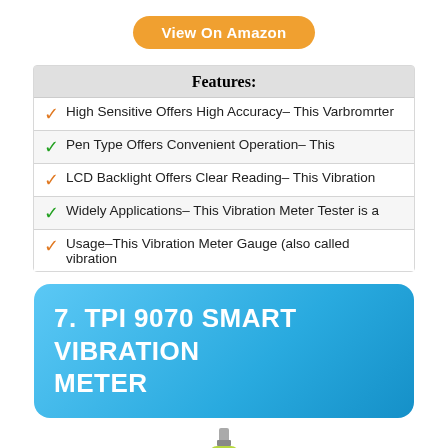View On Amazon
| Features: |
| --- |
| ✓ High Sensitive Offers High Accuracy– This Varbromrter |
| ✓ Pen Type Offers Convenient Operation– This |
| ✓ LCD Backlight Offers Clear Reading– This Vibration |
| ✓ Widely Applications– This Vibration Meter Tester is a |
| ✓ Usage–This Vibration Meter Gauge (also called vibration |
7. TPI 9070 SMART VIBRATION METER
[Figure (photo): TPI 9070 Smart Vibration Meter product photo — a yellow/green handheld pen-type vibration meter with LCD display]